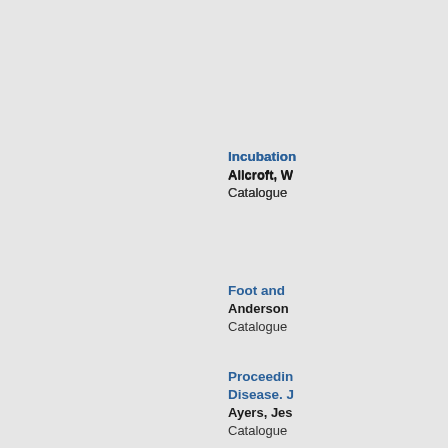Incubation... Allcroft, W... Catalogue...
Foot and ... Anderson... Catalogue...
Proceedin... Disease. J... Ayers, Jes... Catalogue...